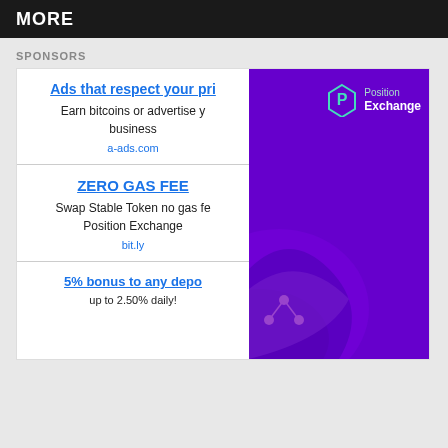MORE
SPONSORS
[Figure (screenshot): Advertisement panel with three ad listings on the left and a Position Exchange purple banner on the right. Ad 1: 'Ads that respect your pri...' / 'Earn bitcoins or advertise y... business' / a-ads.com. Ad 2: 'ZERO GAS FEE' / 'Swap Stable Token no gas fe... Position Exchange' / bit.ly. Ad 3: '5% bonus to any depo...' / 'up to 2.50% daily!']
Ads that respect your pri...
Earn bitcoins or advertise y... business
a-ads.com
ZERO GAS FEE
Swap Stable Token no gas fe... Position Exchange
bit.ly
5% bonus to any depo...
up to 2.50% daily!